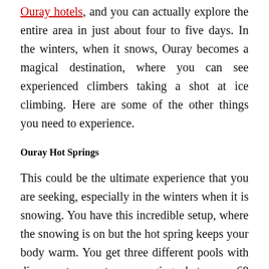Ouray hotels, and you can actually explore the entire area in just about four to five days. In the winters, when it snows, Ouray becomes a magical destination, where you can see experienced climbers taking a shot at ice climbing. Here are some of the other things you need to experience.
Ouray Hot Springs
This could be the ultimate experience that you are seeking, especially in the winters when it is snowing. You have this incredible setup, where the snowing is on but the hot spring keeps your body warm. You get three different pools with diverse temperature, ranging between 68 degrees and 107 degrees. To make the most of it, you have...